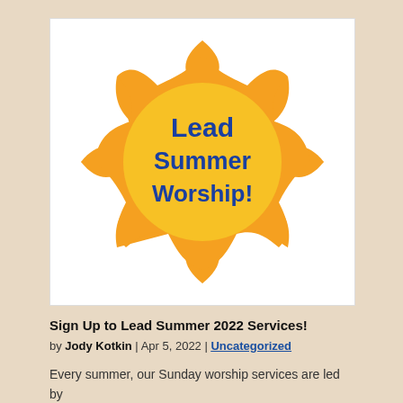[Figure (illustration): A cartoon sun illustration with orange spiky rays and a yellow circular center, with the bold blue text 'Lead Summer Worship!' written inside the circle.]
Sign Up to Lead Summer 2022 Services!
by Jody Kotkin | Apr 5, 2022 | Uncategorized
Every summer, our Sunday worship services are led by FPS members. The scope of services is both wide and